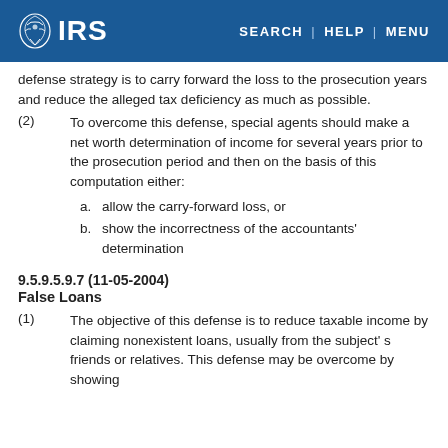IRS | SEARCH | HELP | MENU
defense strategy is to carry forward the loss to the prosecution years and reduce the alleged tax deficiency as much as possible.
(2) To overcome this defense, special agents should make a net worth determination of income for several years prior to the prosecution period and then on the basis of this computation either:
a. allow the carry-forward loss, or
b. show the incorrectness of the accountants' determination
9.5.9.5.9.7 (11-05-2004)
False Loans
(1) The objective of this defense is to reduce taxable income by claiming nonexistent loans, usually from the subject's friends or relatives. This defense may be overcome by showing